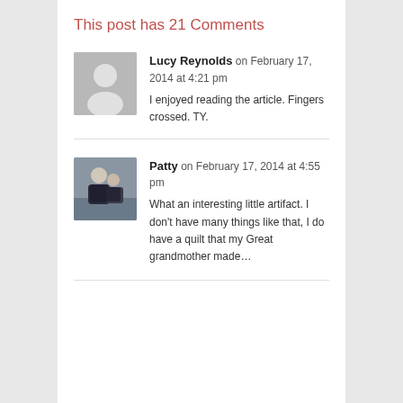This post has 21 Comments
Lucy Reynolds  on February 17, 2014 at 4:21 pm
I enjoyed reading the article. Fingers crossed. TY.
Patty  on February 17, 2014 at 4:55 pm
What an interesting little artifact. I don't have many things like that, I do have a quilt that my Great grandmother made…